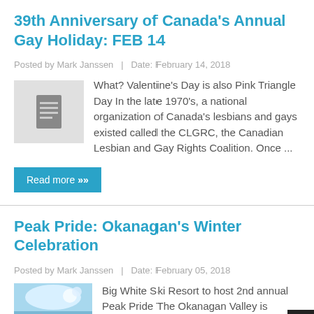39th Anniversary of Canada's Annual Gay Holiday: FEB 14
Posted by Mark Janssen   |   Date: February 14, 2018
[Figure (illustration): Document/article placeholder icon — grey square with document lines icon]
What? Valentine's Day is also Pink Triangle Day In the late 1970's, a national organization of Canada's lesbians and gays existed called the CLGRC, the Canadian Lesbian and Gay Rights Coalition. Once ...
Read more »
Peak Pride: Okanagan's Winter Celebration
Posted by Mark Janssen   |   Date: February 05, 2018
[Figure (photo): Colorful winter celebration image with blue sky, colorful abstract shapes and crowd]
Big White Ski Resort to host 2nd annual Peak Pride The Okanagan Valley is famous for its wineries a...